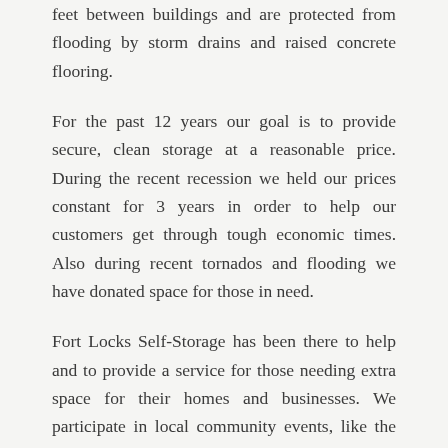feet between buildings and are protected from flooding by storm drains and raised concrete flooring.
For the past 12 years our goal is to provide secure, clean storage at a reasonable price. During the recent recession we held our prices constant for 3 years in order to help our customers get through tough economic times. Also during recent tornados and flooding we have donated space for those in need.
Fort Locks Self-Storage has been there to help and to provide a service for those needing extra space for their homes and businesses. We participate in local community events, like the Three Rivers Festival and Parade and sponsoring local sports